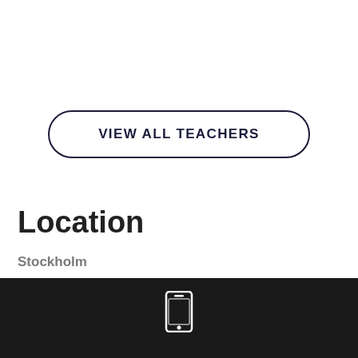VIEW ALL TEACHERS
Location
Stockholm
[Figure (other): Dark footer bar with a white smartphone/mobile phone icon]